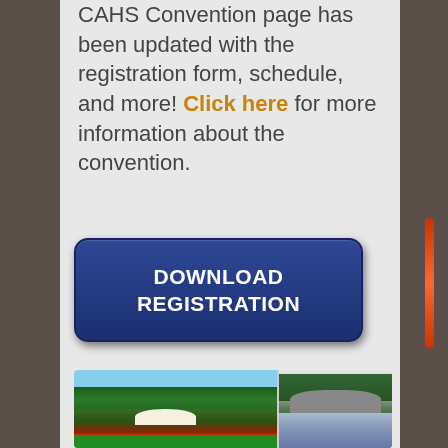CAHS Convention page has been updated with the registration form, schedule, and more! Click here for more information about the convention.
[Figure (illustration): Blue rounded rectangle button with white bold text reading DOWNLOAD REGISTRATION]
[Figure (photo): Two outdoor photos side by side showing a garden with gazebo and a bridge with waterfall]